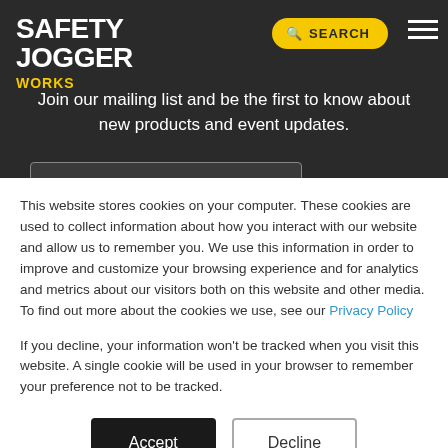SAFETY JOGGER WORKS
Join our mailing list and be the first to know about new products and event updates.
This website stores cookies on your computer. These cookies are used to collect information about how you interact with our website and allow us to remember you. We use this information in order to improve and customize your browsing experience and for analytics and metrics about our visitors both on this website and other media. To find out more about the cookies we use, see our Privacy Policy
If you decline, your information won't be tracked when you visit this website. A single cookie will be used in your browser to remember your preference not to be tracked.